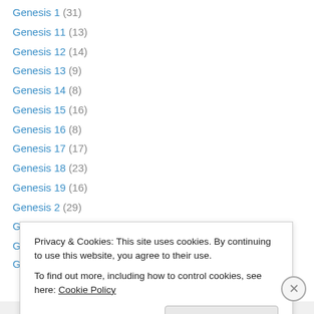Genesis 1 (31)
Genesis 11 (13)
Genesis 12 (14)
Genesis 13 (9)
Genesis 14 (8)
Genesis 15 (16)
Genesis 16 (8)
Genesis 17 (17)
Genesis 18 (23)
Genesis 19 (16)
Genesis 2 (29)
Genesis 21 (13)
Genesis 22 (19)
Genesis 24 (8)
Privacy & Cookies: This site uses cookies. By continuing to use this website, you agree to their use. To find out more, including how to control cookies, see here: Cookie Policy
Close and accept